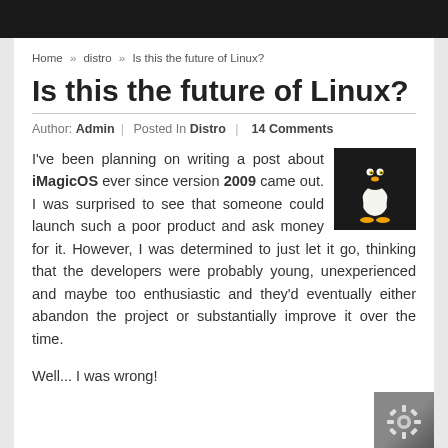Home » distro » Is this the future of Linux?
Is this the future of Linux?
Author: Admin | Posted In Distro | 14 Comments
I've been planning on writing a post about iMagicOS ever since version 2009 came out. I was surprised to see that someone could launch such a poor product and ask money for it. However, I was determined to just let it go, thinking that the developers were probably young, unexperienced and maybe too enthusiastic and they'd eventually either abandon the project or substantially improve it over the time.
Well... I was wrong!
[Figure (illustration): Tux the Linux penguin mascot on dark background]